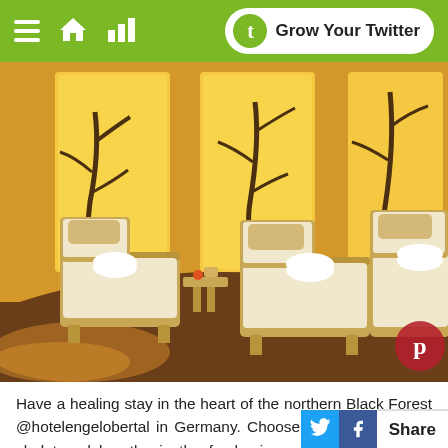Grow Your Twitter
[Figure (photo): Luxury spa relaxation area with wooden lounge chairs/daybeds topped with cream cushions and rolled white towels, set against warm golden-lit backlit panels with decorative dark branch silhouettes, on a polished dark wood curved floor. Pinterest logo overlay in bottom right corner.]
Have a healing stay in the heart of the northern Black Forest @hotelengelobertal in Germany. Choose a tranquil wooden chalet and breathe in the fresh air on a hike around the valleys. On your return, the wellness centre awaits with ex